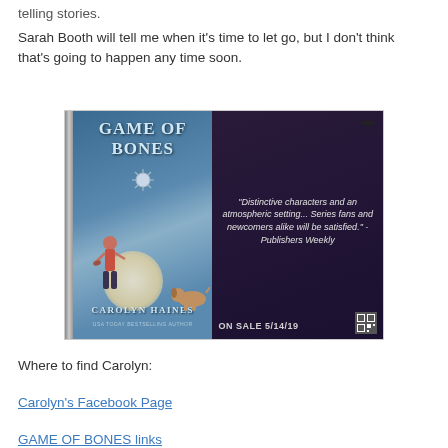telling stories.
Sarah Booth will tell me when it’s time to let go, but I don’t think that’s going to happen any time soon.
[Figure (photo): Book advertisement image for 'Game of Bones' by Carolyn Haines. Shows the book cover on the left with a woman figure and a dog in front of a large moon, against a blue sky background. On the right side is a dark purple background with a quote: "Distinctive characters and an atmospheric setting... Series fans and newcomers alike will be satisfied." - Publishers Weekly, and 'ON SALE 5/14/19' at the bottom.]
Where to find Carolyn:
Carolyn’s Facebook Page
GAME OF BONES links